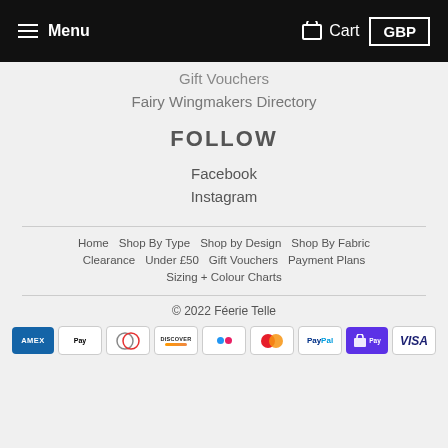Menu  Cart  GBP
Gift Vouchers
Fairy Wingmakers Directory
FOLLOW
Facebook
Instagram
Home  Shop By Type  Shop by Design  Shop By Fabric  Clearance  Under £50  Gift Vouchers  Payment Plans  Sizing + Colour Charts
© 2022 Féerie Telle
[Figure (other): Payment method icons: AMEX, Apple Pay, Diners Club, Discover, generic, Mastercard, PayPal, Shop Pay, Visa]